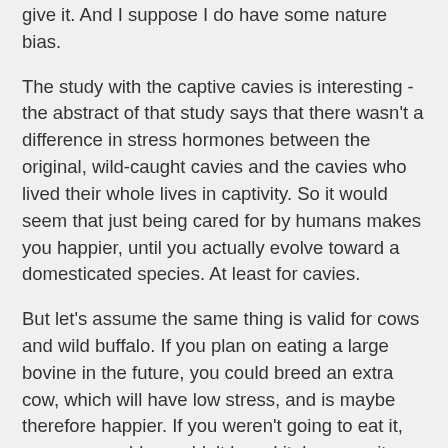give it. And I suppose I do have some nature bias.
The study with the captive cavies is interesting - the abstract of that study says that there wasn't a difference in stress hormones between the original, wild-caught cavies and the cavies who lived their whole lives in captivity. So it would seem that just being cared for by humans makes you happier, until you actually evolve toward a domesticated species. At least for cavies.
But let's assume the same thing is valid for cows and wild buffalo. If you plan on eating a large bovine in the future, you could breed an extra cow, which will have low stress, and is maybe therefore happier. If you weren't going to eat it, you presumably wouldn't breed it, because it costs you money to feed and care for it (I know this isn't how the cow economy works, exactly). So you have essentially created a happy animal, up until the point you kill her, which presumably involves some amount of stress and unhappiness. In the meantime, the buffalo that